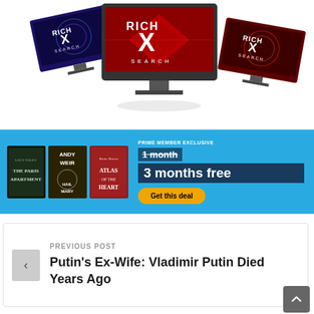[Figure (screenshot): Rich X Search promotional banner showing a computer monitor and two tilted screens, all displaying the Rich X Search logo with a large red X on dark backgrounds with neon lights]
[Figure (infographic): Audible Prime Member Exclusive advertisement on a blue background showing three audiobook covers (The Paris Apartment, Hail Mary by Andy Weir, Atlas of the Heart) with text: PRIME MEMBER EXCLUSIVE, 1 month crossed out, 3 months free, and a Get this deal button]
PREVIOUS POST
Putin's Ex-Wife: Vladimir Putin Died Years Ago